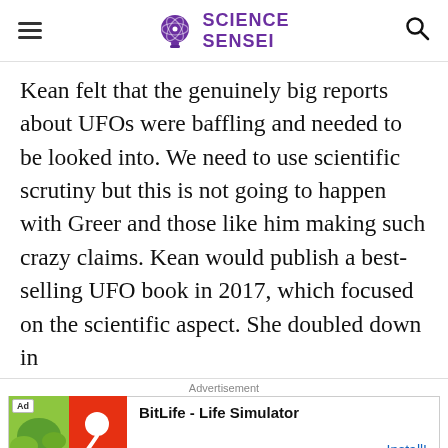SCIENCE SENSEI
Kean felt that the genuinely big reports about UFOs were baffling and needed to be looked into. We need to use scientific scrutiny but this is not going to happen with Greer and those like him making such crazy claims. Kean would publish a best-selling UFO book in 2017, which focused on the scientific aspect. She doubled down in
Advertisement
[Figure (other): Advertisement banner for BitLife - Life Simulator app with thumbnail images and Install button]